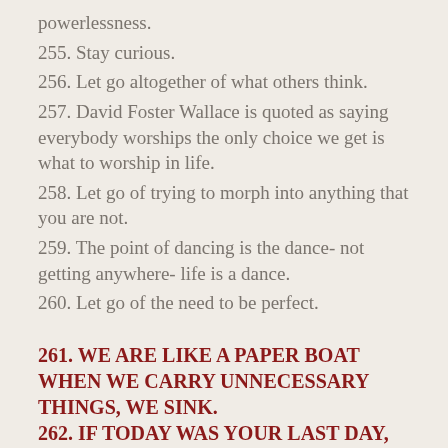powerlessness.
255. Stay curious.
256. Let go altogether of what others think.
257. David Foster Wallace is quoted as saying everybody worships the only choice we get is what to worship in life.
258. Let go of trying to morph into anything that you are not.
259. The point of dancing is the dance- not getting anywhere- life is a dance.
260. Let go of the need to be perfect.
261. WE ARE LIKE A PAPER BOAT WHEN WE CARRY UNNECESSARY THINGS, WE SINK.
262. IF TODAY WAS YOUR LAST DAY, WHAT WOULD YOU DO WITH IT?